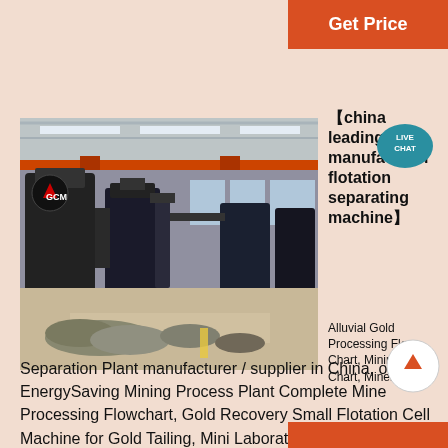Get Price
[Figure (photo): Interior of a large industrial factory/workshop showing heavy mining equipment including flotation machines, mills, and processing equipment under a steel roof structure with overhead cranes. GCM logo visible on machinery.]
【china leading manufacturer flotation separating machine】
Alluvial Gold Processing Flow Chart, Mining Flow Chart, Mineral Separation Plant manufacturer / supplier in China, offering EnergySaving Mining Process Plant Complete Mine Processing Flowchart, Gold Recovery Small Flotation Cell Machine for Gold Tailing, Mini Laboratory Triple Grinding Mill with Three Material Grinding Bowls and